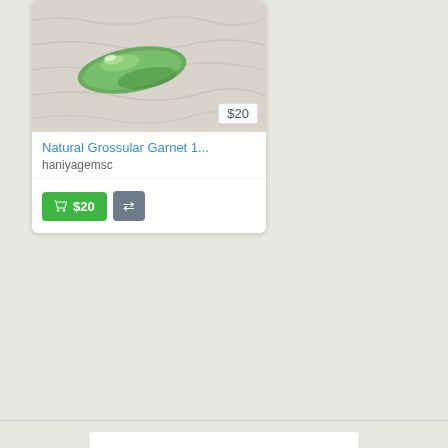[Figure (photo): Product listing card for Natural Grossular Garnet showing a green gemstone on fabric background, priced at $20, sold by haniyagemsc, with Add to Cart ($20) and Compare buttons]
[Figure (logo): Bronze 2022 Stevie Winner International Business Awards badge/logo with laurel wreath, figure holding crystal, and colorful cityscape towers in teal/gold colors]